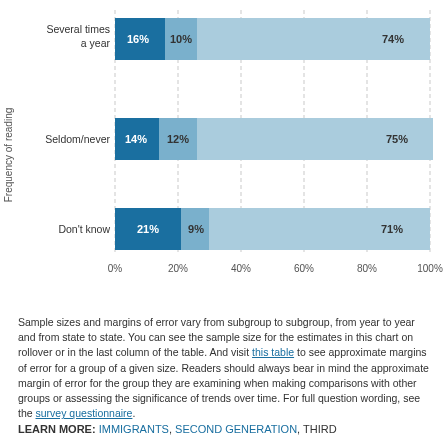[Figure (stacked-bar-chart): Frequency of reading]
Sample sizes and margins of error vary from subgroup to subgroup, from year to year and from state to state. You can see the sample size for the estimates in this chart on rollover or in the last column of the table. And visit this table to see approximate margins of error for a group of a given size. Readers should always bear in mind the approximate margin of error for the group they are examining when making comparisons with other groups or assessing the significance of trends over time. For full question wording, see the survey questionnaire.
LEARN MORE: IMMIGRANTS, SECOND GENERATION, THIRD